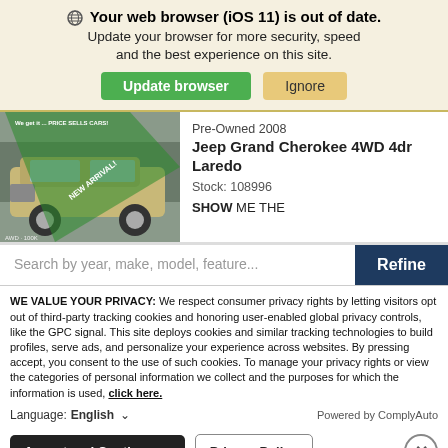Your web browser (iOS 11) is out of date. Update your browser for more security, speed and the best experience on this site.
Update browser | Ignore
[Figure (photo): Photo of a silver/gold Jeep Grand Cherokee in a dealership lot with a green 'NEW ARRIVAL!' diagonal banner and 'We get it ... PRICE SELLS CARS!' text at top.]
Pre-Owned 2008 Jeep Grand Cherokee 4WD 4dr Laredo Stock: 108996 SHOW ME THE
Search by year, make, model, feature... Refine
WE VALUE YOUR PRIVACY: We respect consumer privacy rights by letting visitors opt out of third-party tracking cookies and honoring user-enabled global privacy controls, like the GPC signal. This site deploys cookies and similar tracking technologies to build profiles, serve ads, and personalize your experience across websites. By pressing accept, you consent to the use of such cookies. To manage your privacy rights or view the categories of personal information we collect and the purposes for which the information is used, click here.
Language: English ∨ Powered by ComplyAuto
Accept and Continue → Privacy Policy ×